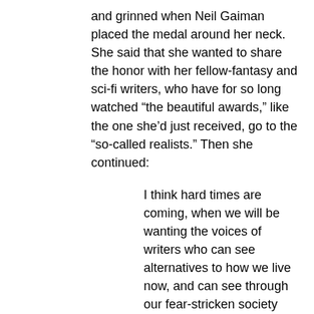and grinned when Neil Gaiman placed the medal around her neck. She said that she wanted to share the honor with her fellow-fantasy and sci-fi writers, who have for so long watched “the beautiful awards,” like the one she’d just received, go to the “so-called realists.” Then she continued:
I think hard times are coming, when we will be wanting the voices of writers who can see alternatives to how we live now, and can see through our fear-stricken society and its obsessive technologies, to other ways of being. And even imagine some real grounds for hope.
We will need writers who can remember freedom: poets, visionaries—the realists of a larger reality. Right now, I think we need writers who know the difference between production of a market commodity and the practice of an